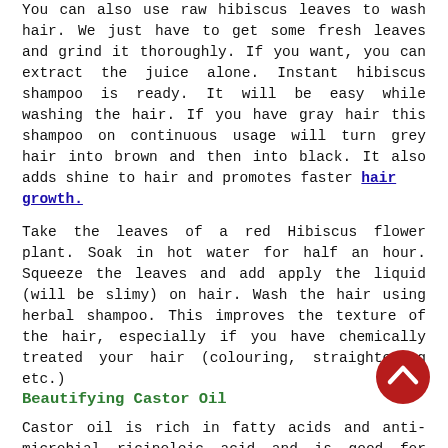You can also use raw hibiscus leaves to wash hair. We just have to get some fresh leaves and grind it thoroughly. If you want, you can extract the juice alone. Instant hibiscus shampoo is ready. It will be easy while washing the hair. If you have gray hair this shampoo on continuous usage will turn grey hair into brown and then into black. It also adds shine to hair and promotes faster hair growth.
Take the leaves of a red Hibiscus flower plant. Soak in hot water for half an hour. Squeeze the leaves and add apply the liquid (will be slimy) on hair. Wash the hair using herbal shampoo. This improves the texture of the hair, especially if you have chemically treated your hair (colouring, straightening etc.)
Beautifying Castor Oil
Castor oil is rich in fatty acids and anti-microbial ricinoleic acid and is good for hair. In India, ancestors to keep hair black